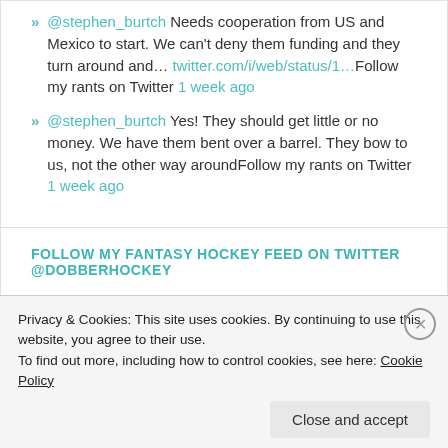» @stephen_burtch Needs cooperation from US and Mexico to start. We can't deny them funding and they turn around and… twitter.com/i/web/status/1…Follow my rants on Twitter 1 week ago
» @stephen_burtch Yes! They should get little or no money. We have them bent over a barrel. They bow to us, not the other way aroundFollow my rants on Twitter 1 week ago
FOLLOW MY FANTASY HOCKEY FEED ON TWITTER @DOBBERHOCKEY
» @LeafsCrazed He did not, I'll look into it with the author 34 minutes ago
Privacy & Cookies: This site uses cookies. By continuing to use this website, you agree to their use.
To find out more, including how to control cookies, see here: Cookie Policy